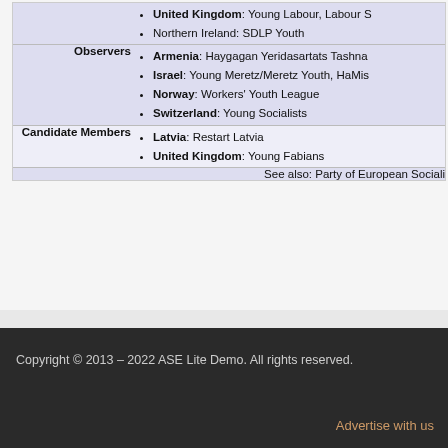|  | United Kingdom: Young Labour, Labour S... |
|  | Northern Ireland: SDLP Youth |
| Observers | Armenia: Haygagan Yeridasartats Tashna... |
|  | Israel: Young Meretz/Meretz Youth, HaMis... |
|  | Norway: Workers' Youth League |
|  | Switzerland: Young Socialists |
| Candidate Members | Latvia: Restart Latvia |
|  | United Kingdom: Young Fabians |
|  | See also: Party of European Sociali... |
Copyright © 2013 - 2022 ASE Lite Demo. All rights reserved.
Advertise with us